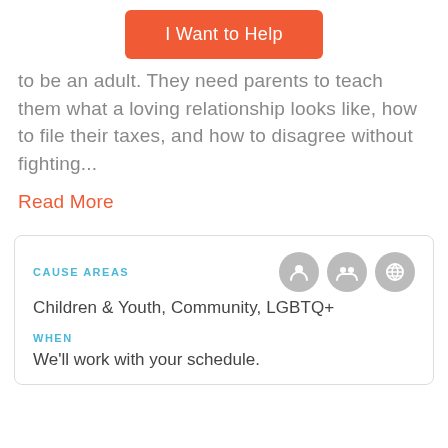[Figure (other): Orange button labeled 'I Want to Help']
to be an adult. They need parents to teach them what a loving relationship looks like, how to file their taxes, and how to disagree without fighting...
Read More
CAUSE AREAS
Children & Youth, Community, LGBTQ+
WHEN
We'll work with your schedule.